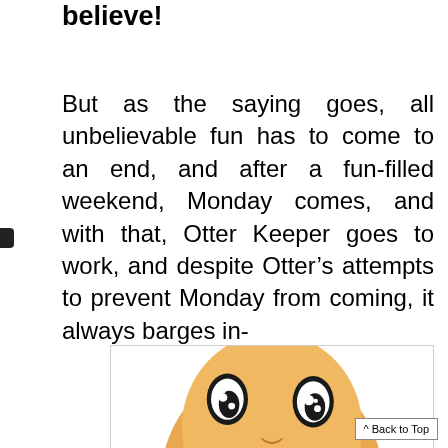believe!
But as the saying goes, all unbelievable fun has to come to an end, and after a fun-filled weekend, Monday comes, and with that, Otter Keeper goes to work, and despite Otter’s attempts to prevent Monday from coming, it always barges in-
[Figure (illustration): Cartoon illustration of a round, orange otter-like character with large expressive eyes (teardrop-shaped with white highlights), visible at the bottom of the page. The character has a warm orange/tan body.]
^ Back to Top